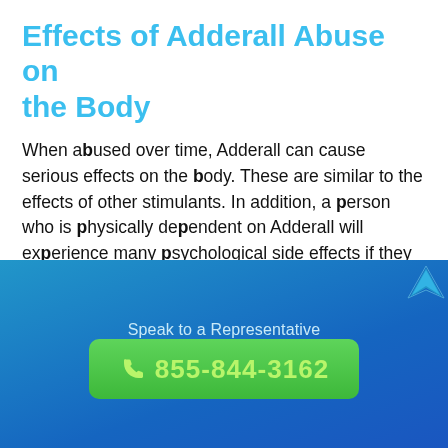Effects of Adderall Abuse on the Body
When abused over time, Adderall can cause serious effects on the body. These are similar to the effects of other stimulants. In addition, a person who is physically dependent on Adderall will experience many psychological side effects if they abruptly stop taking it.
Speak to a Representative
855-844-3162